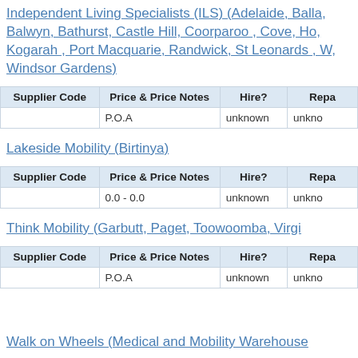Independent Living Specialists (ILS) (Adelaide, Balla, Balwyn, Bathurst, Castle Hill, Coorparoo , Cove, Ho, Kogarah , Port Macquarie, Randwick, St Leonards , W, Windsor Gardens)
| Supplier Code | Price & Price Notes | Hire? | Repa |
| --- | --- | --- | --- |
|  | P.O.A | unknown | unkno |
Lakeside Mobility (Birtinya)
| Supplier Code | Price & Price Notes | Hire? | Repa |
| --- | --- | --- | --- |
|  | 0.0 - 0.0 | unknown | unkno |
Think Mobility (Garbutt, Paget, Toowoomba, Virgi
| Supplier Code | Price & Price Notes | Hire? | Repa |
| --- | --- | --- | --- |
|  | P.O.A | unknown | unkno |
Walk on Wheels (Medical and Mobility Warehouse